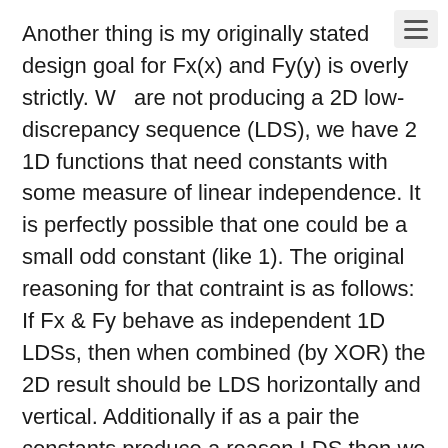Another thing is my originally stated design goal for Fx(x) and Fy(y) is overly strictly. We are not producing a 2D low-discrepancy sequence (LDS), we have 2 1D functions that need constants with some measure of linear independence. It is perfectly possible that one could be a small odd constant (like 1). The original reasoning for that contraint is as follows: If Fx & Fy behave as independent 1D LDSs, then when combined (by XOR) the 2D result should be LDS horizontally and vertical. Additionally if as a pair the constants produce a reason LDS then we should likewise be good along diagonals.
Along the same lines for ISAs with a fair range of fast integer operations one of these mapping functions (Fx,Fy) could be replaced